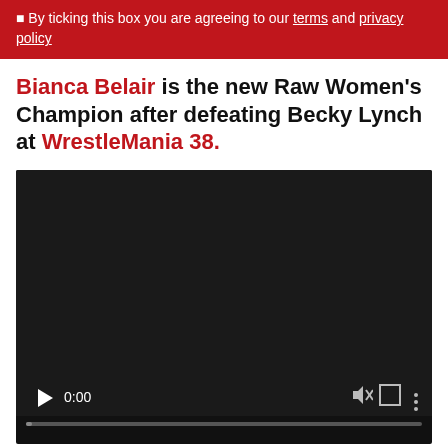By ticking this box you are agreeing to our terms and privacy policy
Bianca Belair is the new Raw Women's Champion after defeating Becky Lynch at WrestleMania 38.
[Figure (screenshot): Embedded video player with black screen, showing 0:00 timestamp, play button, mute icon, fullscreen icon, and more options icon, with a progress bar at the bottom.]
It's the second successive year that The EST of WWE has walked out of WrestleMania as